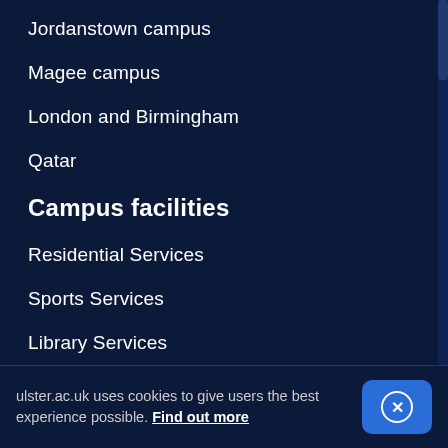Jordanstown campus
Magee campus
London and Birmingham
Qatar
Campus facilities
Residential Services
Sports Services
Library Services
About The University
About Ulster University
Contact Details
Job opportunities
ulster.ac.uk uses cookies to give users the best experience possible. Find out more